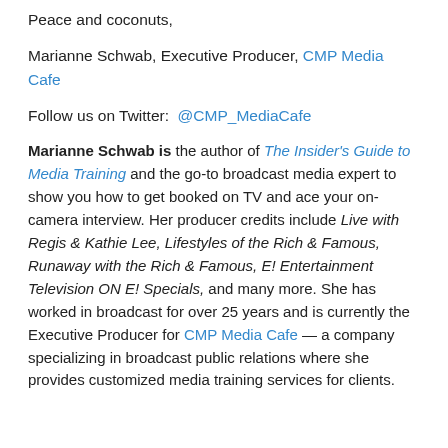Peace and coconuts,
Marianne Schwab, Executive Producer, CMP Media Cafe
Follow us on Twitter:  @CMP_MediaCafe
Marianne Schwab is the author of The Insider's Guide to Media Training and the go-to broadcast media expert to show you how to get booked on TV and ace your on-camera interview. Her producer credits include Live with Regis & Kathie Lee, Lifestyles of the Rich & Famous, Runaway with the Rich & Famous, E! Entertainment Television ON E! Specials, and many more. She has worked in broadcast for over 25 years and is currently the Executive Producer for CMP Media Cafe — a company specializing in broadcast public relations where she provides customized media training services for clients.